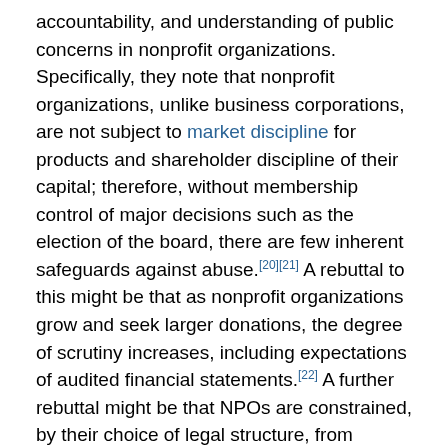accountability, and understanding of public concerns in nonprofit organizations. Specifically, they note that nonprofit organizations, unlike business corporations, are not subject to market discipline for products and shareholder discipline of their capital; therefore, without membership control of major decisions such as the election of the board, there are few inherent safeguards against abuse.[20][21] A rebuttal to this might be that as nonprofit organizations grow and seek larger donations, the degree of scrutiny increases, including expectations of audited financial statements.[22] A further rebuttal might be that NPOs are constrained, by their choice of legal structure, from financial benefit as far as distribution of profit to members and directors is concerned.
Tax exemption
In many countries, nonprofits may apply for tax-exempt status, so that the organization itself may be exempt from income tax and other taxes. In the United States, to be exempt from federal income taxes, the organization must meet the